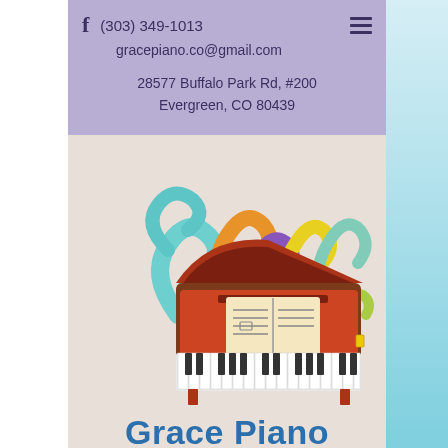f   (303) 349-1013   gracepiano.co@gmail.com   28577 Buffalo Park Rd, #200 Evergreen, CO 80439
[Figure (illustration): Colorful cartoon illustration of a grand piano with swirling musical notes/ribbons in blue, orange, yellow, purple, teal, and green rising from the top of the piano. An open music book sits on the piano stand. The piano is drawn in warm red-brown tones.]
Grace Piano